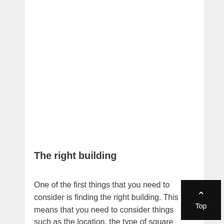The right building
One of the first things that you need to consider is finding the right building. This means that you need to consider things such as the location, the type of square footage